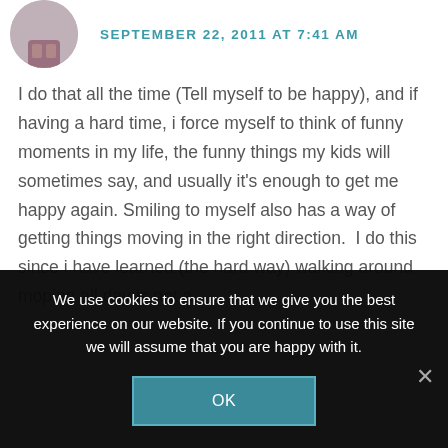SEPTEMBER 22, 2011 AT 7:41 AM
I do that all the time (Tell myself to be happy), and if having a hard time, i force myself to think of funny moments in my life, the funny things my kids will sometimes say, and usually it's enough to get me happy again. Smiling to myself also has a way of getting things moving in the right direction.  I do this since i have learned (the hard way) walking around moping all day is not a...
We use cookies to ensure that we give you the best experience on our website. If you continue to use this site we will assume that you are happy with it.
OK